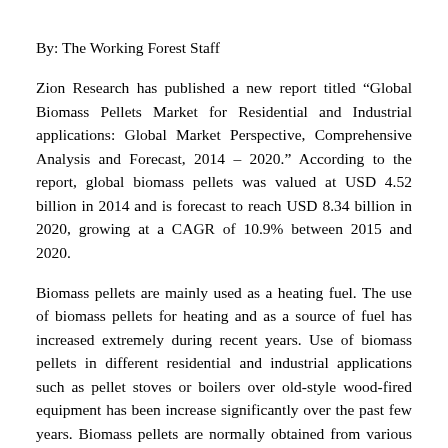By: The Working Forest Staff
Zion Research has published a new report titled “Global Biomass Pellets Market for Residential and Industrial applications: Global Market Perspective, Comprehensive Analysis and Forecast, 2014 – 2020.” According to the report, global biomass pellets was valued at USD 4.52 billion in 2014 and is forecast to reach USD 8.34 billion in 2020, growing at a CAGR of 10.9% between 2015 and 2020.
Biomass pellets are mainly used as a heating fuel. The use of biomass pellets for heating and as a source of fuel has increased extremely during recent years. Use of biomass pellets in different residential and industrial applications such as pellet stoves or boilers over old-style wood-fired equipment has been increase significantly over the past few years. Biomass pellets are normally obtained from various sources including the timber industry, sawdust,